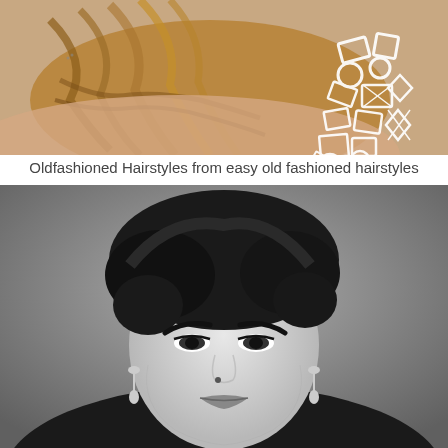[Figure (photo): Color photo of a woman seen from behind showing a braided/wavy hairstyle, with a large geometric statement necklace made of white linked shapes visible on her back and shoulder area.]
Oldfashioned Hairstyles from easy old fashioned hairstyles
[Figure (photo): Black and white portrait photo of a woman with a voluminous 1950s/1960s updo hairstyle, dramatic arched eyebrows, and dangling earrings, looking directly at the camera.]